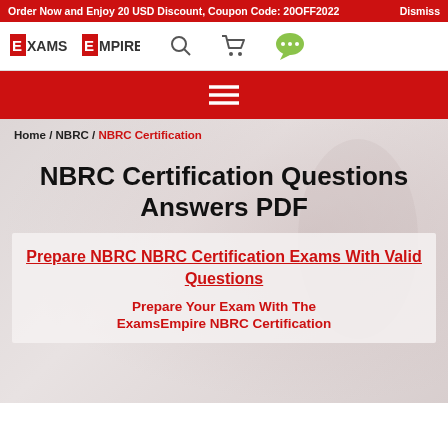Order Now and Enjoy 20 USD Discount, Coupon Code: 20OFF2022   Dismiss
[Figure (logo): ExamsEmpire logo with navigation icons (search, cart, chat)]
[Figure (other): Red navigation bar with hamburger menu icon]
Home / NBRC / NBRC Certification
NBRC Certification Questions Answers PDF
Prepare NBRC NBRC Certification Exams With Valid Questions
Prepare Your Exam With The ExamsEmpire NBRC Certification